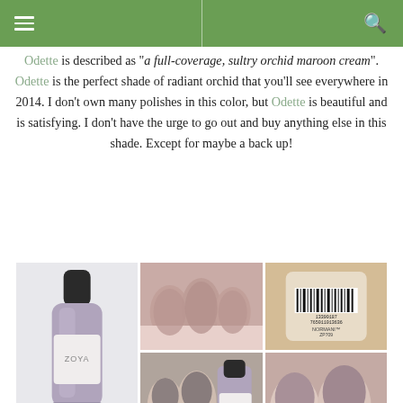Navigation header with hamburger menu and search icon
Odette is described as "a full-coverage, sultry orchid maroon cream". Odette is the perfect shade of radiant orchid that you'll see everywhere in 2014. I don't own many polishes in this color, but Odette is beautiful and is satisfying. I don't have the urge to go out and buy anything else in this shade. Except for maybe a back up!
[Figure (photo): Grid of 5 photos showing Zoya nail polish: nails painted with orchid/mauve shade, bottom of bottle with barcode label reading NORMANI ZP709, full bottle of Zoya polish, nails with darker taupe shade held next to Zoya bottle, close-up of nails]